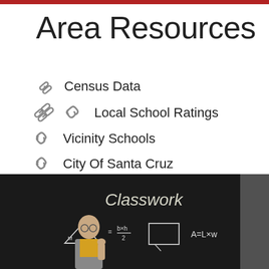Area Resources
Census Data
Local School Ratings
Vicinity Schools
City Of Santa Cruz
Local Weather
[Figure (photo): A bald male teacher with glasses standing in front of a blackboard with 'Classwork' written on it, along with math formulas including triangle area M*b*h/2 and A=L×w]